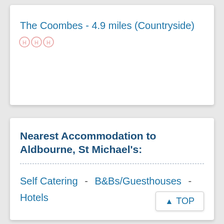The Coombes - 4.9 miles (Countryside)
[Figure (other): Three star rating icons in faded pink/salmon color]
Nearest Accommodation to Aldbourne, St Michael's:
Self Catering  -  B&Bs/Guesthouses  -  Hotels
TOP